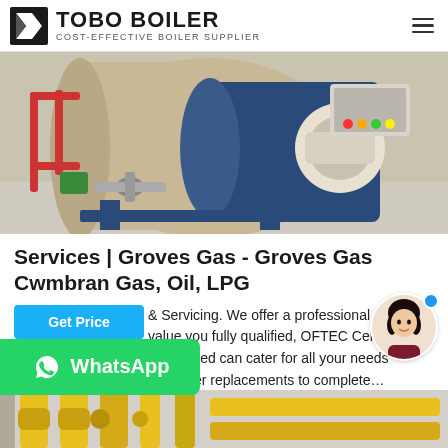TOBO BOILER COST-EFFECTIVE BOILER SUPPLIER
[Figure (photo): Industrial gas boiler unit — large cylindrical tan/beige tank with blue front housing, motor, control panel with colored indicator lights, red pipe fittings, valves, and blue support frame in an indoor installation]
Services | Groves Gas - Groves Gas Cwmbran Gas, Oil, LPG
& Servicing. We offer a professional and value you fully qualified, OFTEC Certified & Registered can cater for all your needs from oiler replacements to complete…
[Figure (photo): Yellow industrial gas pipes and fittings in an indoor setting, partially visible at bottom of page]